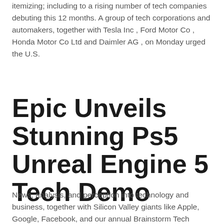itemizing; including to a rising number of tech companies debuting this 12 months. A group of tech corporations and automakers, together with Tesla Inc , Ford Motor Co , Honda Motor Co Ltd and Daimler AG , on Monday urged the U.S.
Epic Unveils Stunning Ps5 Unreal Engine 5 Tech Demo
News, analysis, and perception into technology and business, together with Silicon Valley giants like Apple, Google, Facebook, and our annual Brainstorm Tech conference. Telecentre